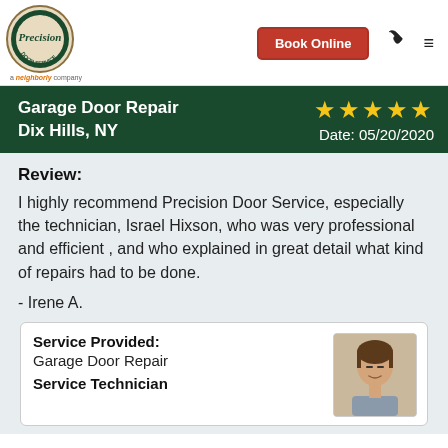Precision Door Service — Book Online navigation header
Garage Door Repair Dix Hills, NY ★★★★★ Date: 05/20/2020
Review:
I highly recommend Precision Door Service, especially the technician, Israel Hixson, who was very professional and efficient , and who explained in great detail what kind of repairs had to be done.
- Irene A.
Service Provided: Garage Door Repair
Service Technician